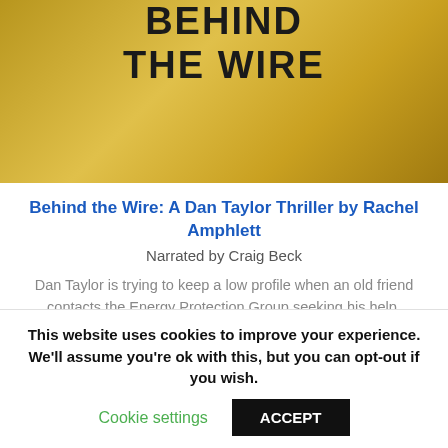[Figure (illustration): Book cover for 'Behind the Wire' with golden/sandy background and bold black text reading 'BEHIND THE WIRE']
Behind the Wire: A Dan Taylor Thriller by Rachel Amphlett
Narrated by Craig Beck
Dan Taylor is trying to keep a low profile when an old friend contacts the Energy Protection Group seeking his help.
The man's daughter is alone in sub-Saharan Africa, and her life is in grave danger.
This website uses cookies to improve your experience. We'll assume you're ok with this, but you can opt-out if you wish.